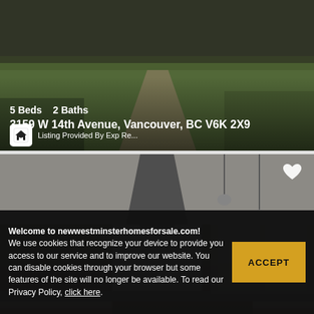[Figure (photo): Exterior photo of a house with green lawn and pathway, partially visible at top of page]
5 Beds   2 Baths
3159 W 14th Avenue, Vancouver, BC V6K 2X9
Listing Provided By Exp Re...
[Figure (photo): Interior photo of a modern open-plan kitchen with island, range hood, pendant lights, and hardwood floors]
$2,699,000
3 Beds   2 Baths
17481 100 Avenue, Surrey, BC V4N 4L2
Listing Provided By Exp Re...
Welcome to newwestminsterhomesforsale.com!
We use cookies that recognize your device to provide you access to our service and to improve our website. You can disable cookies through your browser but some features of the site will no longer be available. To read our Privacy Policy, click here.